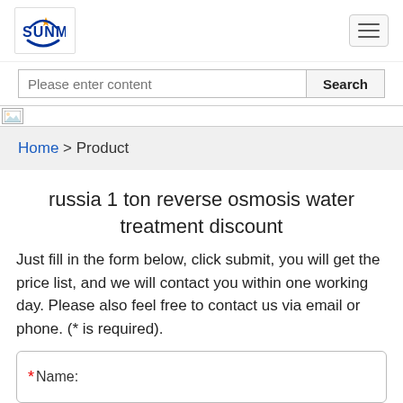[Figure (logo): SUNMAY logo with orange star and blue arc, blue bold text]
Please enter content
[Figure (photo): Banner image placeholder strip]
Home > Product
russia 1 ton reverse osmosis water treatment discount
Just fill in the form below, click submit, you will get the price list, and we will contact you within one working day. Please also feel free to contact us via email or phone. (* is required).
* Name: